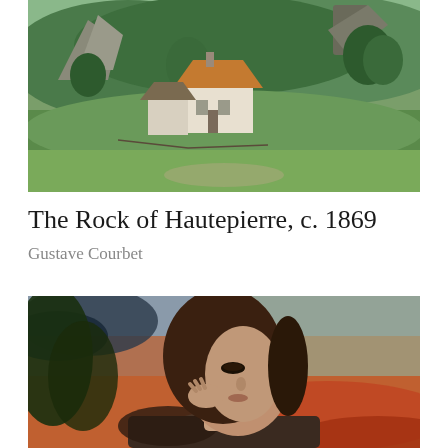[Figure (photo): Painting of a landscape with a farmhouse/cottage and rocky outcrop surrounded by green hills and trees, c. 1869 by Gustave Courbet (The Rock of Hautepierre)]
The Rock of Hautepierre, c. 1869
Gustave Courbet
[Figure (photo): Painting portrait of a young woman with long dark hair resting her head on her hand, with a warm reddish-orange sky background, by Gustave Courbet]